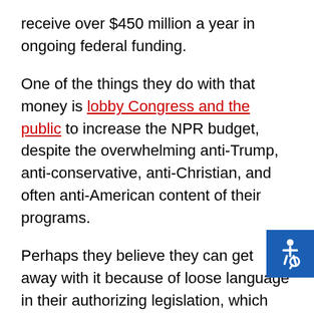receive over $450 million a year in ongoing federal funding.
One of the things they do with that money is lobby Congress and the public to increase the NPR budget, despite the overwhelming anti-Trump, anti-conservative, anti-Christian, and often anti-American content of their programs.
Perhaps they believe they can get away with it because of loose language in their authorizing legislation, which merely states that the Corporation and its subsidiaries and affiliates "d not contribute to or otherwise support any political party or candidate for elective public office."